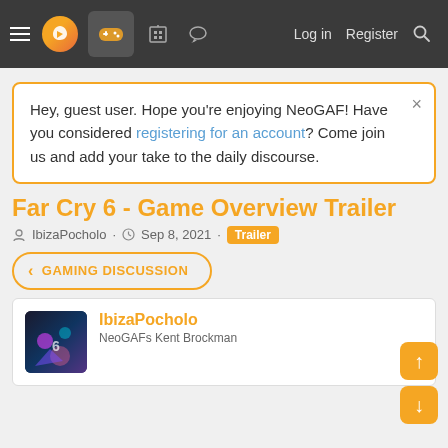NeoGAF navigation bar with logo, gaming icon, Log in, Register, Search
Hey, guest user. Hope you're enjoying NeoGAF! Have you considered registering for an account? Come join us and add your take to the daily discourse.
Far Cry 6 - Game Overview Trailer
IbizaPocholo · Sep 8, 2021 · Trailer
< GAMING DISCUSSION
IbizaPocholo
NeoGAFs Kent Brockman